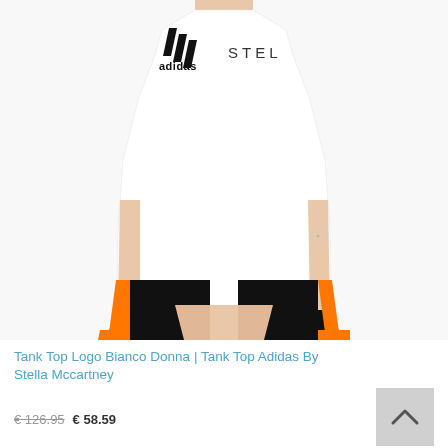[Figure (photo): Product photo of a woman wearing a white Adidas by Stella McCartney tank top with the Adidas logo and 'STEL' text visible on the chest, paired with black and orange athletic tights/leggings.]
Tank Top Logo Bianco Donna | Tank Top Adidas By Stella Mccartney
€ 126.95  € 58.59